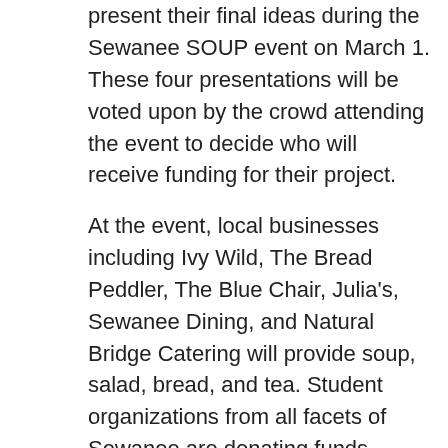present their final ideas during the Sewanee SOUP event on March 1. These four presentations will be voted upon by the crowd attending the event to decide who will receive funding for their project.
At the event, local businesses including Ivy Wild, The Bread Peddler, The Blue Chair, Julia's, Sewanee Dining, and Natural Bridge Catering will provide soup, salad, bread, and tea. Student organizations from all facets of Sewanee are donating funds, volunteering service hours, and selling tickets. In the weeks leading up to the event, tickets are available for five dollars in McClurg and in the Babson Center for Global Commerce. The money from tickets sold